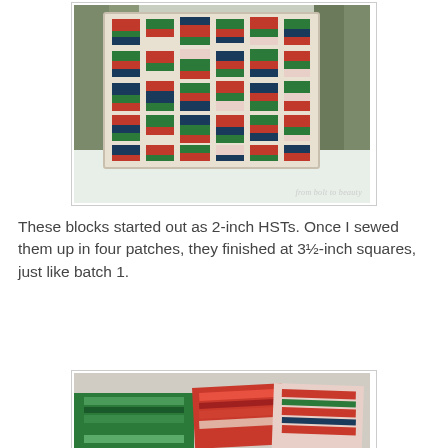[Figure (photo): Christmas quilt displayed outdoors in snow. Quilt features colorful patchwork blocks in red, green, navy and cream/beige fabrics arranged in a tumbling/scattered pattern. Watermark reads 'from bolt to beauty'.]
These blocks started out as 2-inch HSTs. Once I sewed them up in four patches, they finished at 3½-inch squares, just like batch 1.
[Figure (photo): Partial view of quilted fabric pieces showing Christmas-themed fabrics in green, red and patterned prints.]